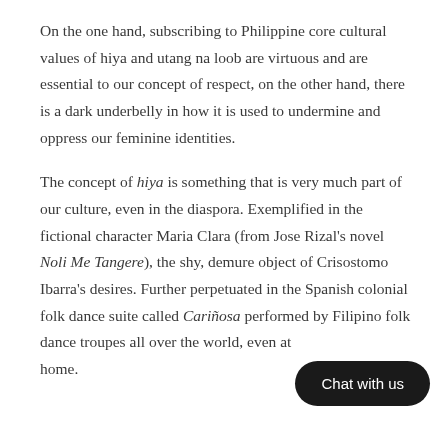On the one hand, subscribing to Philippine core cultural values of hiya and utang na loob are virtuous and are essential to our concept of respect, on the other hand, there is a dark underbelly in how it is used to undermine and oppress our feminine identities.
The concept of hiya is something that is very much part of our culture, even in the diaspora. Exemplified in the fictional character Maria Clara (from Jose Rizal's novel Noli Me Tangere), the shy, demure object of Crisostomo Ibarra's desires. Further perpetuated in the Spanish colonial folk dance suite called Cariñosa performed by Filipino folk dance troupes all over the world, even at home.